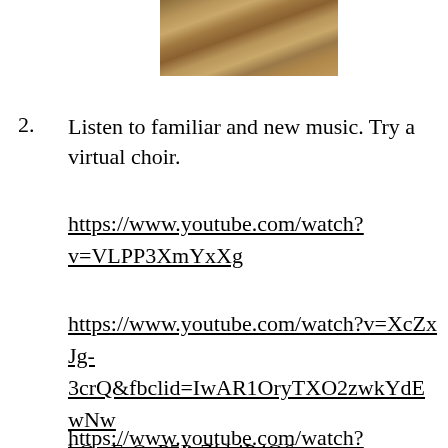[Figure (photo): Partial view of a dry grassy or earthy outdoor scene, cropped at the top of the page.]
2. Listen to familiar and new music. Try a virtual choir.
https://www.youtube.com/watch?v=VLPP3XmYxXg
https://www.youtube.com/watch?v=XcZxJg-3crQ&fbclid=IwAR1OryTXO2zwkYdEwNwhQs-FsQzP5P-ZjdriP4O6-IdupsqxlI9SV16CH5o
https://www.youtube.com/watch?